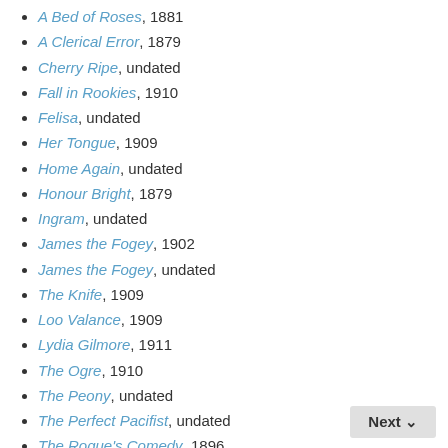A Bed of Roses, 1881
A Clerical Error, 1879
Cherry Ripe, undated
Fall in Rookies, 1910
Felisa, undated
Her Tongue, 1909
Home Again, undated
Honour Bright, 1879
Ingram, undated
James the Fogey, 1902
James the Fogey, undated
The Knife, 1909
Loo Valance, 1909
Lydia Gilmore, 1911
The Ogre, 1910
The Peony, undated
The Perfect Pacifist, undated
The Rogue's Comedy, 1896
Sophie, 1909
Tom Tobin, Policeman, 1921
Venetia Superba, undated
Venturesome Naomi, undated
We Can't be as Bad as all That, 1910
Untitled (fragment), 1910
Untitled, 1919
Untitled, 1922 (two drafts)